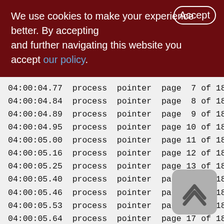We use cookies to make your experience better. By accepting and further navigating this website you accept our policy.
04:00:04.77 process pointer page 7 of 18
04:00:04.84 process pointer page 8 of 18
04:00:04.89 process pointer page 9 of 18
04:00:04.95 process pointer page 10 of 18
04:00:05.00 process pointer page 11 of 18
04:00:05.16 process pointer page 12 of 18
04:00:05.25 process pointer page 13 of 18
04:00:05.40 process pointer page 14 of 18
04:00:05.46 process pointer page 15 of 18
04:00:05.53 process pointer page 16 of 18
04:00:05.64 process pointer page 17 of 18
04:00:05.67 Index 1